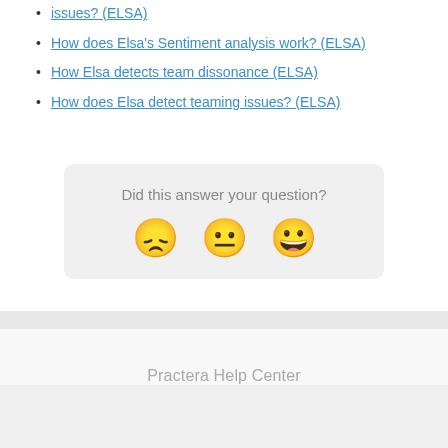issues? (ELSA)
How does Elsa's Sentiment analysis work? (ELSA)
How Elsa detects team dissonance (ELSA)
How does Elsa detect teaming issues? (ELSA)
[Figure (infographic): Feedback widget asking 'Did this answer your question?' with three emoji faces: sad face, neutral face, and happy face]
Practera Help Center